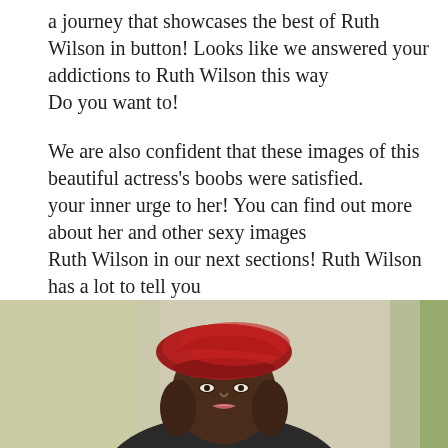a journey that showcases the best of Ruth Wilson in button! Looks like we answered your addictions to Ruth Wilson this way
Do you want to!

We are also confident that these images of this beautiful actress's boobs were satisfied.
your inner urge to her! You can find out more about her and other sexy images
Ruth Wilson in our next sections! Ruth Wilson has a lot to tell you
on our page! Congratulations to Ruth Wilson and your fandom!
[Figure (photo): A woman wearing a red beret hat with curled hair, photographed from approximately shoulder level up, with a blurred light background.]